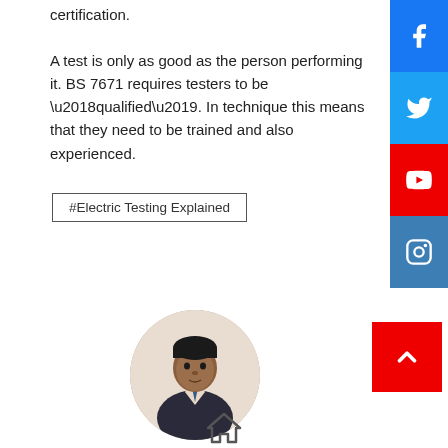certification.
A test is only as good as the person performing it. BS 7671 requires testers to be ‘qualified’. In technique this means that they need to be trained and also experienced.
#Electric Testing Explained
[Figure (photo): Circular profile photo of a man in a suit and tie]
By admin